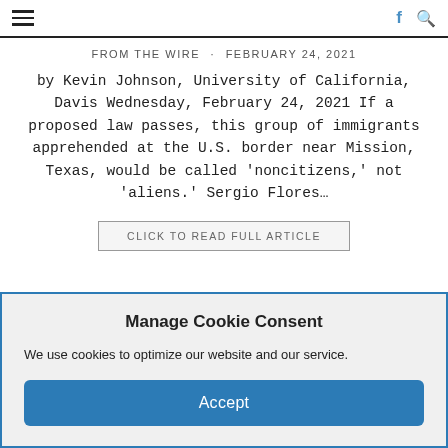≡  f 🔍
FROM THE WIRE · FEBRUARY 24, 2021
by Kevin Johnson, University of California, Davis Wednesday, February 24, 2021 If a proposed law passes, this group of immigrants apprehended at the U.S. border near Mission, Texas, would be called 'noncitizens,' not 'aliens.' Sergio Flores…
CLICK TO READ FULL ARTICLE
Manage Cookie Consent
We use cookies to optimize our website and our service.
Accept